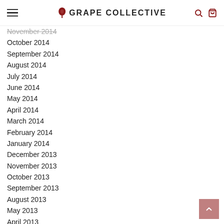GRAPE COLLECTIVE
November 2014
October 2014
September 2014
August 2014
July 2014
June 2014
May 2014
April 2014
March 2014
February 2014
January 2014
December 2013
November 2013
October 2013
September 2013
August 2013
May 2013
April 2013